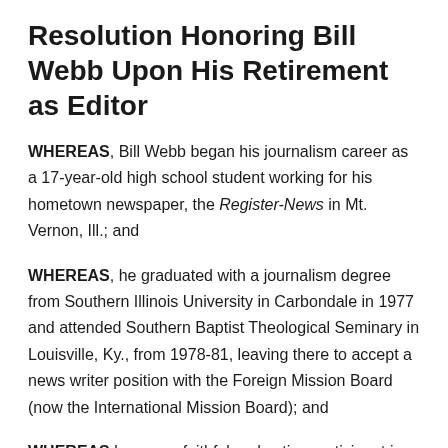Resolution Honoring Bill Webb Upon His Retirement as Editor
WHEREAS, Bill Webb began his journalism career as a 17-year-old high school student working for his hometown newspaper, the Register-News in Mt. Vernon, Ill.; and
WHEREAS, he graduated with a journalism degree from Southern Illinois University in Carbondale in 1977 and attended Southern Baptist Theological Seminary in Louisville, Ky., from 1978-81, leaving there to accept a news writer position with the Foreign Mission Board (now the International Mission Board); and
WHEREAS he was a faithful and active participant in the Association of State Baptist Papers, now the Association of